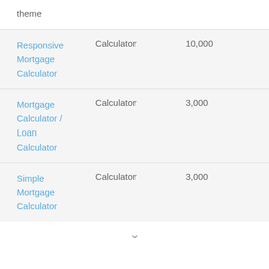| Name | Type | Count |
| --- | --- | --- |
| [partial/truncated at top] theme |  |  |
| Responsive Mortgage Calculator | Calculator | 10,000 |
| Mortgage Calculator / Loan Calculator | Calculator | 3,000 |
| Simple Mortgage Calculator | Calculator | 3,000 |